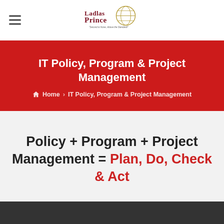Ladlas Prince — Second to None, Above the Standard!
IT Policy, Program & Project Management
Home > IT Policy, Program & Project Management
Policy + Program + Project Management = Plan, Do, Check & Act